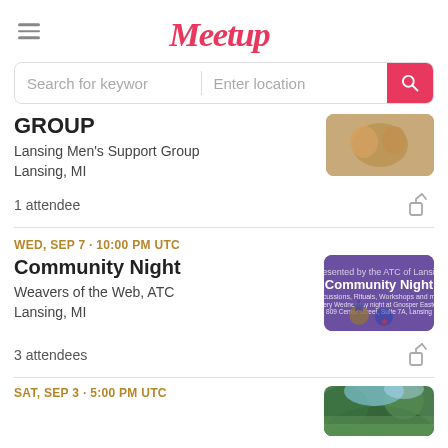Meetup
Search for keywords | Enter location
GROUP
Lansing Men's Support Group
Lansing, MI
1 attendee
WED, SEP 7 · 10:00 PM UTC
Community Night
Weavers of the Web, ATC
Lansing, MI
3 attendees
SAT, SEP 3 · 5:00 PM UTC